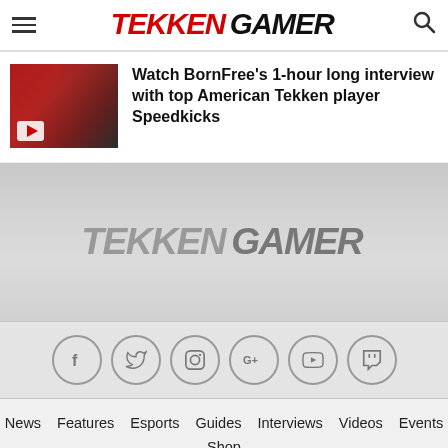TekkenGamer
Watch BornFree's 1-hour long interview with top American Tekken player Speedkicks
[Figure (photo): Thumbnail image of two people, one in a red jacket, with a YouTube play button overlay]
[Figure (logo): TekkenGamer logo in gray, centered in footer background]
[Figure (infographic): Social media icon circles: Facebook, Twitter, Instagram, Google+, YouTube, Twitch]
News  Features  Esports  Guides  Interviews  Videos  Events  Shop